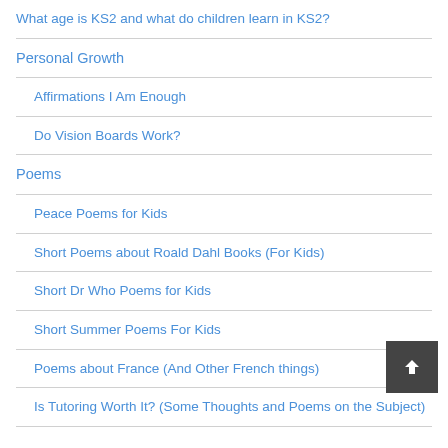What age is KS2 and what do children learn in KS2?
Personal Growth
Affirmations I Am Enough
Do Vision Boards Work?
Poems
Peace Poems for Kids
Short Poems about Roald Dahl Books (For Kids)
Short Dr Who Poems for Kids
Short Summer Poems For Kids
Poems about France (And Other French things)
Is Tutoring Worth It? (Some Thoughts and Poems on the Subject)